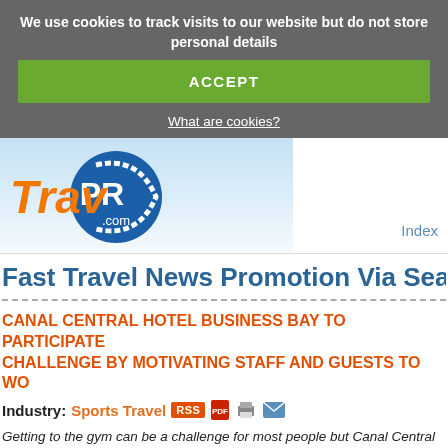We use cookies to track visits to our website but do not store personal details
ACCEPT
What are cookies?
[Figure (logo): TravPR.com logo — orange italic 'Trav' text followed by blue circle with white 'PR' and '.com' text inside]
Index
Fast Travel News Promotion Via Search, So
CANAL CENTRAL HOTEL BUSINESS BAY TO PARTICIPATE CHALLENGE BY MOTIVATING STAFF AND GUESTS TO WO
Industry: Sports Travel RSS
Getting to the gym can be a challenge for most people but Canal Central Hotel Busin and guests moving.
TRAVPR.COM/ UNITED ARAB EMIRATES - October 14th, 2018 - Getting th